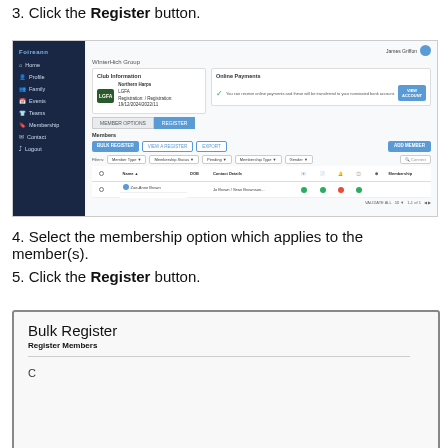3. Click the Register button.
[Figure (screenshot): Screenshot of a membership management web application showing a sidebar navigation with items: Home, Profile, Family, Events, Teams, Membership, Contact, Logout. Main content shows Club Information (Northern Harps, LGFA) and Online Payments section, with a Members list showing BULK REGISTER, VIEW A REGISTER, and EXPORT buttons, plus member table with one visible member row.]
4. Select the membership option which applies to the member(s).
5. Click the Register button.
[Figure (screenshot): Partial screenshot showing a modal or page titled 'Bulk Register' with subtitle 'Register Members' and partial content below.]